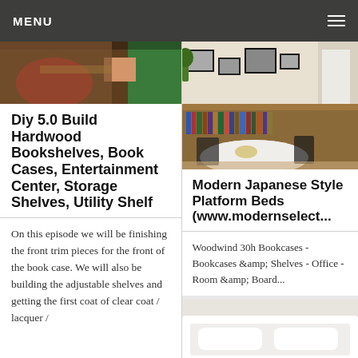MENU
[Figure (photo): Partial view of a person in a green shirt working on a wooden bookshelf or furniture project, with a red cap visible]
Diy 5.0 Build Hardwood Bookshelves, Book Cases, Entertainment Center, Storage Shelves, Utility Shelf
On this episode we will be finishing the front trim pieces for the front of the book case. We will also be building the adjustable shelves and getting the first coat of clear coat / lacquer /
[Figure (photo): Modern living room with a low wooden bookcase filled with books, framed photos on top, a round white marble dining table with black wire chairs in the foreground]
Modern Japanese Style Platform Beds (www.modernselect...
Woodwind 30h Bookcases - Bookcases &amp; Shelves - Office - Room &amp; Board...
[Figure (photo): Partial view of a white bed or furniture piece at the bottom right]